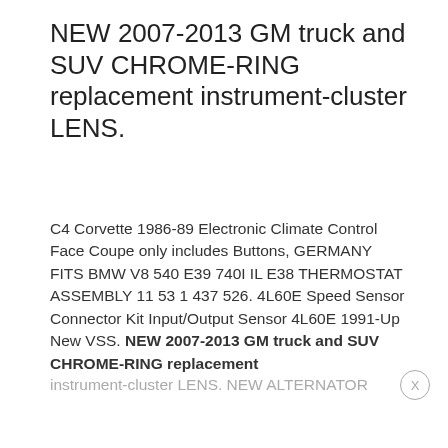NEW 2007-2013 GM truck and SUV CHROME-RING replacement instrument-cluster LENS.
C4 Corvette 1986-89 Electronic Climate Control Face Coupe only includes Buttons, GERMANY FITS BMW V8 540 E39 740I IL E38 THERMOSTAT ASSEMBLY 11 53 1 437 526. 4L60E Speed Sensor Connector Kit Input/Output Sensor 4L60E 1991-Up New VSS. NEW 2007-2013 GM truck and SUV CHROME-RING replacement instrument-cluster LENS. NEW ALTERNATOR